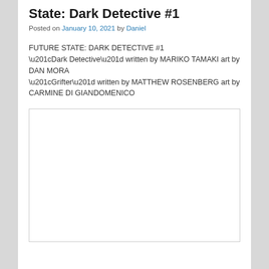State: Dark Detective #1
Posted on January 10, 2021 by Daniel
FUTURE STATE: DARK DETECTIVE #1
“Dark Detective” written by MARIKO TAMAKI art by DAN MORA
“Grifter” written by MATTHEW ROSENBERG art by CARMINE DI GIANDOMENICO
[Figure (other): Empty white image placeholder with border]